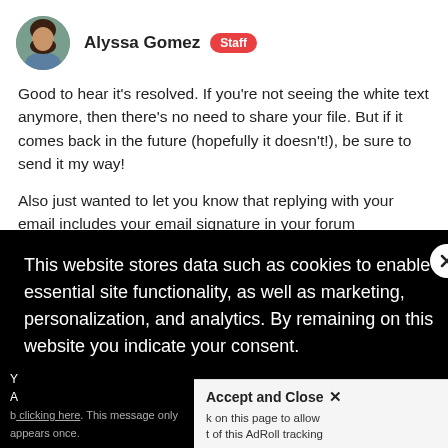[Figure (photo): Avatar photo of Alyssa Gomez, a woman with dark hair]
Alyssa Gomez Staff
Good to hear it's resolved. If you're not seeing the white text anymore, then there's no need to share your file. But if it comes back in the future (hopefully it doesn't!), be sure to send it my way!

Also just wanted to let you know that replying with your email includes your email signature in your forum responses. You're welcome to come back and [edit] if you like. :)
This website stores data such as cookies to enable essential site functionality, as well as marketing, personalization, and analytics. By remaining on this website you indicate your consent.
Privacy Notice
Accept and Close ✕
k on this page to allow t of this AdRoll tracking